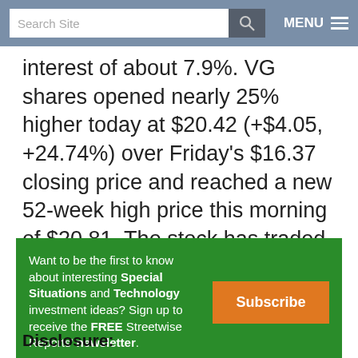Search Site | MENU
interest of about 7.9%. VG shares opened nearly 25% higher today at $20.42 (+$4.05, +24.74%) over Friday's $16.37 closing price and reached a new 52-week high price this morning of $20.81. The stock has traded today between $20.375 and $20.79 per share and closed at $20.79 (+$4.42, +27.00%).
Want to be the first to know about interesting Special Situations and Technology investment ideas? Sign up to receive the FREE Streetwise Reports' newsletter.
Disclosure: